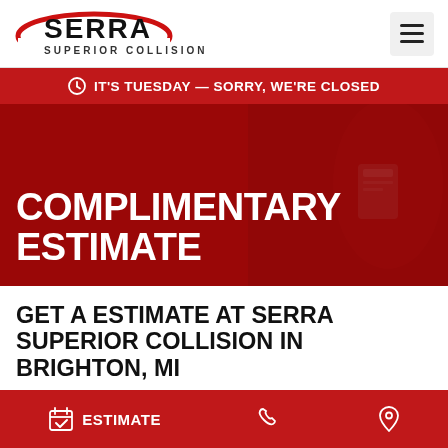[Figure (logo): Serra Superior Collision logo with red oval graphic and bold black text]
IT'S TUESDAY — SORRY, WE'RE CLOSED
COMPLIMENTARY ESTIMATE
GET A ESTIMATE AT SERRA SUPERIOR COLLISION IN BRIGHTON, MI
At Serra Superior Collision, we believe that getting an estimate for automotive collision repairs should be as
ESTIMATE  [phone icon]  [location icon]